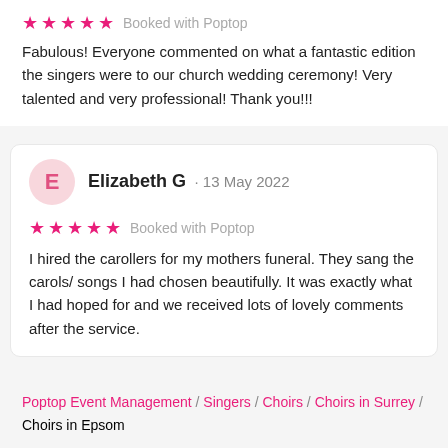★★★★★ Booked with Poptop
Fabulous! Everyone commented on what a fantastic edition the singers were to our church wedding ceremony! Very talented and very professional! Thank you!!!
Elizabeth G · 13 May 2022
★★★★★ Booked with Poptop
I hired the carollers for my mothers funeral. They sang the carols/ songs I had chosen beautifully. It was exactly what I had hoped for and we received lots of lovely comments after the service.
Poptop Event Management / Singers / Choirs / Choirs in Surrey / Choirs in Epsom